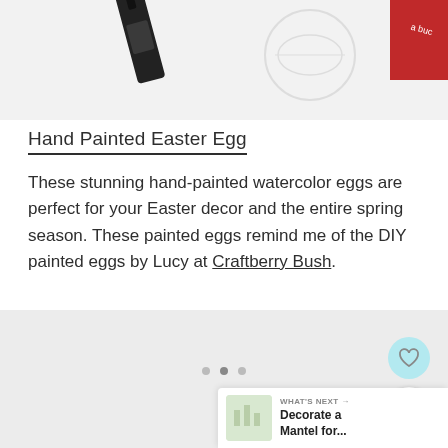[Figure (photo): Top portion of a photo showing a black paint tube and decorative elements on a white background, with a red-labeled item visible at upper right.]
Hand Painted Easter Egg
These stunning hand-painted watercolor eggs are perfect for your Easter decor and the entire spring season. These painted eggs remind me of the DIY painted eggs by Lucy at Craftberry Bush.
[Figure (photo): A cropped photo (mostly white/light area) showing the lower portion of an image with a heart icon button, share icon button overlaid, and a 'What's Next' card with a thumbnail and text 'Decorate a Mantel for...' visible at bottom right.]